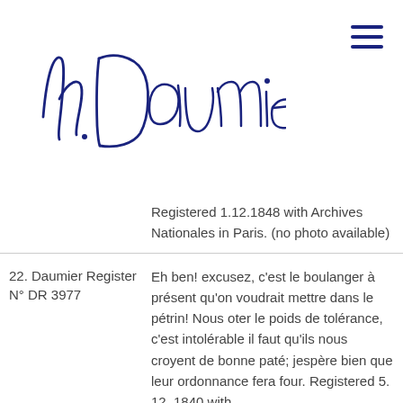[Figure (illustration): Handwritten cursive signature reading 'h. Daumier.' in dark navy blue ink on white background]
[Figure (other): Hamburger menu icon (three horizontal lines) in dark navy blue, top right corner]
|  | Registered 1.12.1848 with Archives Nationales in Paris. (no photo available) |
| 22. Daumier Register N° DR 3977 | Eh ben! excusez, c'est le boulanger à présent qu'on voudrait mettre dans le pétrin! Nous oter le poids de tolérance, c'est intolérable il faut qu'ils nous croyent de bonne paté; jespère bien que leur ordonnance fera four. Registered 5. 12. 1840 with |